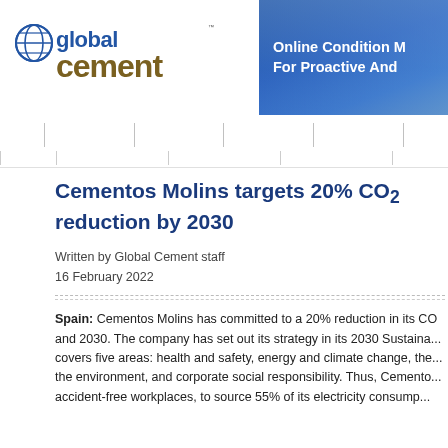[Figure (logo): Global Cement logo with globe icon, 'global' in blue and 'cement' in dark gold/brown]
[Figure (infographic): Blue banner advertisement: 'Online Condition M... For Proactive And ...']
Cementos Molins targets 20% CO2 reduction by 2030
Written by Global Cement staff
16 February 2022
Spain: Cementos Molins has committed to a 20% reduction in its CO... and 2030. The company has set out its strategy in its 2030 Sustaina... covers five areas: health and safety, energy and climate change, the... the environment, and corporate social responsibility. Thus, Cemento... accident-free workplaces, to source 55% of its electricity consump...